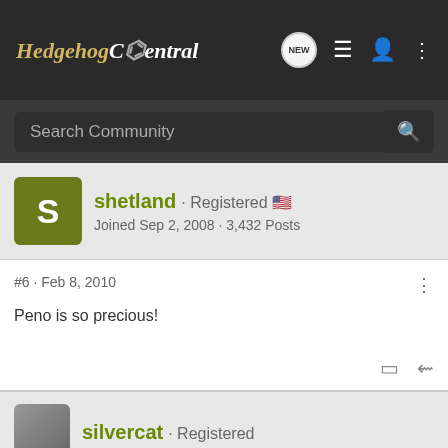Hedgehog Central
Search Community
shetland · Registered
Joined Sep 2, 2008 · 3,432 Posts
#6 · Feb 8, 2010
Peno is so precious!
silvercat · Registered